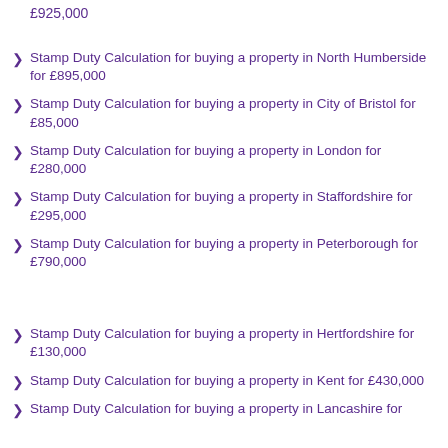£925,000
Stamp Duty Calculation for buying a property in North Humberside for £895,000
Stamp Duty Calculation for buying a property in City of Bristol for £85,000
Stamp Duty Calculation for buying a property in London for £280,000
Stamp Duty Calculation for buying a property in Staffordshire for £295,000
Stamp Duty Calculation for buying a property in Peterborough for £790,000
Stamp Duty Calculation for buying a property in Hertfordshire for £130,000
Stamp Duty Calculation for buying a property in Kent for £430,000
Stamp Duty Calculation for buying a property in Lancashire for